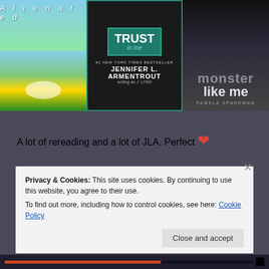[Figure (photo): Three book covers side by side: 'Alienated' (girl in flower field), 'Trust in Me' by Jennifer L. Armentrout writing as J. Lynn (teal cover), and 'Monster Like Me' by Pamela Sparkman (dark atmospheric cover)]
A lot of rereading and a lot of JLA. Perfect ❤
Privacy & Cookies: This site uses cookies. By continuing to use this website, you agree to their use.
To find out more, including how to control cookies, see here: Cookie Policy
Close and accept